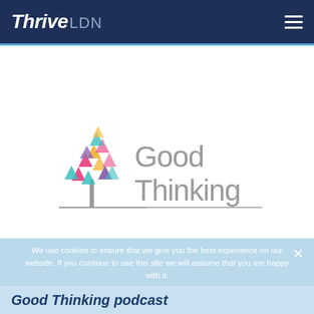Thrive LDN
[Figure (logo): Good Thinking logo — a colourful geometric tree made of triangles (pink, teal, yellow, purple) beside the text 'Good Thinking' in grey sans-serif, with a horizontal rule beneath]
We use cookies to ensure that we give you the best experience on our website. If you continue to use this site we will assume that you are happy with it.
I understand and accept   Learn more
Good Thinking podcast